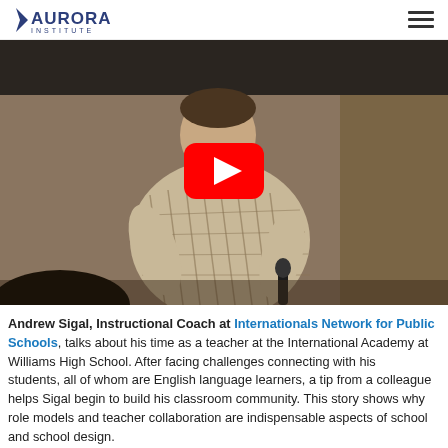Aurora Institute
[Figure (screenshot): YouTube video thumbnail showing a man in a plaid shirt speaking and gesturing with a microphone, with a red YouTube play button overlay in the center.]
Andrew Sigal, Instructional Coach at Internationals Network for Public Schools, talks about his time as a teacher at the International Academy at Williams High School. After facing challenges connecting with his students, all of whom are English language learners, a tip from a colleague helps Sigal begin to build his classroom community. This story shows why role models and teacher collaboration are indispensable aspects of school and school design.